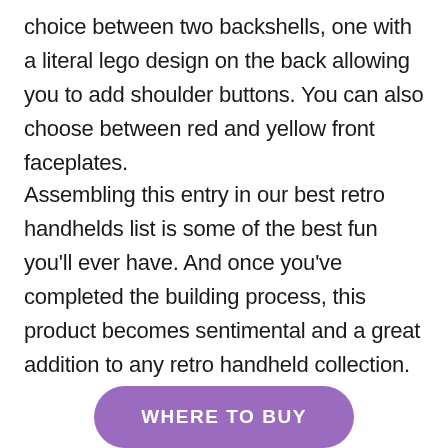choice between two backshells, one with a literal lego design on the back allowing you to add shoulder buttons. You can also choose between red and yellow front faceplates.
Assembling this entry in our best retro handhelds list is some of the best fun you'll ever have. And once you've completed the building process, this product becomes sentimental and a great addition to any retro handheld collection.
WHERE TO BUY